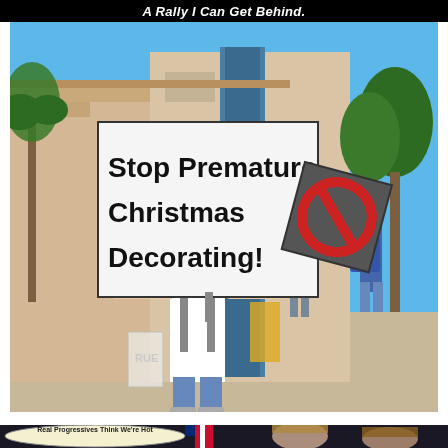A Rally I Can Get Behind.
[Figure (photo): Outdoor photo of a young man in a white t-shirt holding up a large sign reading 'Stop Premature Christmas Decorating!' at what appears to be a rally or protest outside a building. Other protesters are visible in the background holding signs.]
[Figure (photo): Photo of two women (appearing to be politicians) with an overlaid speech bubble reading 'Real Progressives Think We're Hot']